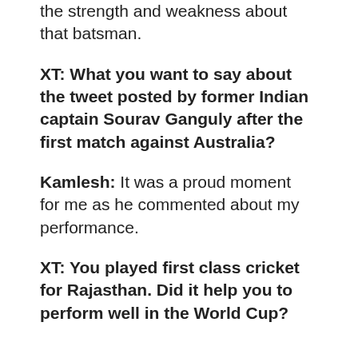the strength and weakness about that batsman.
XT: What you want to say about the tweet posted by former Indian captain Sourav Ganguly after the first match against Australia?
Kamlesh: It was a proud moment for me as he commented about my performance.
XT: You played first class cricket for Rajasthan. Did it help you to perform well in the World Cup?